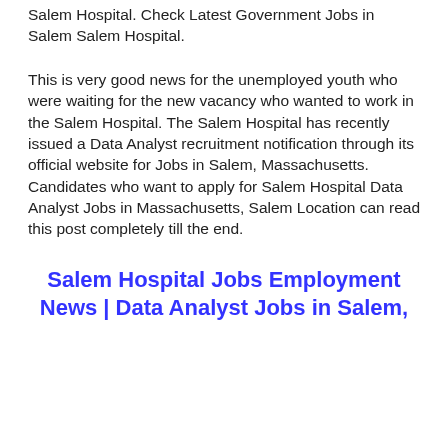Salem Hospital. Check Latest Government Jobs in Salem Salem Hospital.
This is very good news for the unemployed youth who were waiting for the new vacancy who wanted to work in the Salem Hospital. The Salem Hospital has recently issued a Data Analyst recruitment notification through its official website for Jobs in Salem, Massachusetts. Candidates who want to apply for Salem Hospital Data Analyst Jobs in Massachusetts, Salem Location can read this post completely till the end.
Salem Hospital Jobs Employment News | Data Analyst Jobs in Salem,